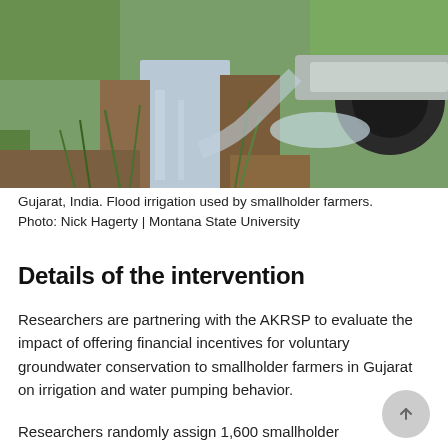[Figure (photo): Flood irrigation water flowing from a large black pipe into a field with green grass and crops in Gujarat, India.]
Gujarat, India. Flood irrigation used by smallholder farmers. Photo: Nick Hagerty | Montana State University
Details of the intervention
Researchers are partnering with the AKRSP to evaluate the impact of offering financial incentives for voluntary groundwater conservation to smallholder farmers in Gujarat on irrigation and water pumping behavior.
Researchers randomly assign 1,600 smallholder